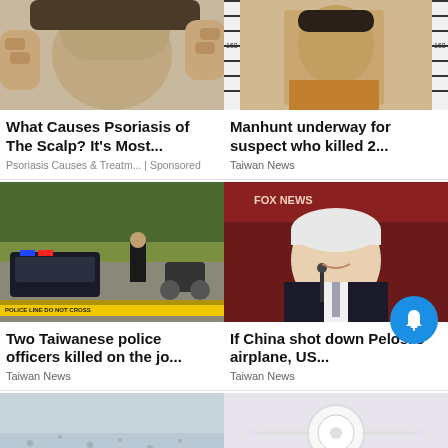[Figure (photo): Person touching back of head/scalp, close-up photo]
[Figure (photo): Mugshot of Asian male suspect in front of height measurement board showing 150 cm]
What Causes Psoriasis of The Scalp? It's Most...
Psoriasis Causes & Treatm... | Sponsored
Manhunt underway for suspect who killed 2...
Taiwan News
[Figure (photo): Crime scene in Taiwan, police officers near crashed vehicle in forested area, yellow police tape in foreground]
[Figure (photo): Older white-haired man in a suit speaking at a podium with microphone, event backdrop visible]
Two Taiwanese police officers killed on the jo...
Taiwan News
If China shot down Pelosi's airplane, US...
Taiwan News
[Figure (photo): Aerial or distant photo of water with birds or objects, washed-out appearance]
[Figure (photo): Close-up of a white round object, possibly a drone or medical device, light background]